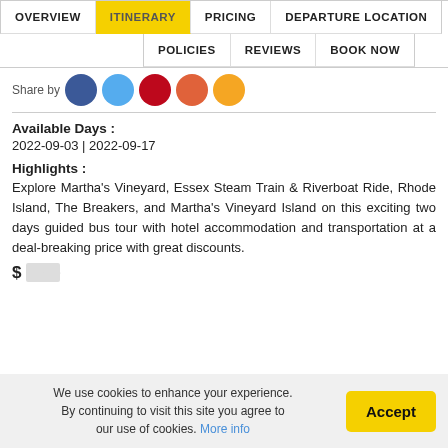OVERVIEW | ITINERARY | PRICING | DEPARTURE LOCATION | POLICIES | REVIEWS | BOOK NOW
[Figure (illustration): Social share icons row: Facebook (blue), Twitter (light blue), Pinterest (red), Email (orange-red), Share (orange-yellow) circular icons, with 'Share by' label]
Available Days : 2022-09-03 | 2022-09-17
Highlights : Explore Martha's Vineyard, Essex Steam Train & Riverboat Ride, Rhode Island, The Breakers, and Martha's Vineyard Island on this exciting two days guided bus tour with hotel accommodation and transportation at a deal-breaking price with great discounts.
$ (price partially visible)
We use cookies to enhance your experience. By continuing to visit this site you agree to our use of cookies. More info